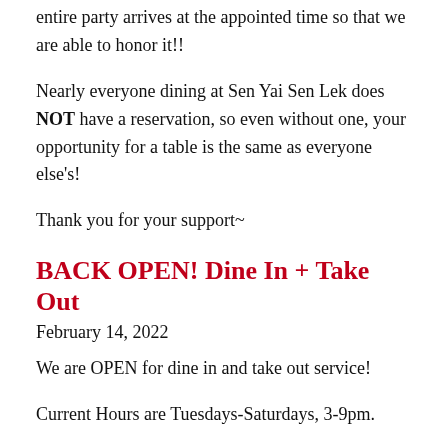entire party arrives at the appointed time so that we are able to honor it!!
Nearly everyone dining at Sen Yai Sen Lek does NOT have a reservation, so even without one, your opportunity for a table is the same as everyone else's!
Thank you for your support~
BACK OPEN! Dine In + Take Out
February 14, 2022
We are OPEN for dine in and take out service!
Current Hours are Tuesdays-Saturdays, 3-9pm.
See you soon~
NEW Temporary Hours
December 28, 2021